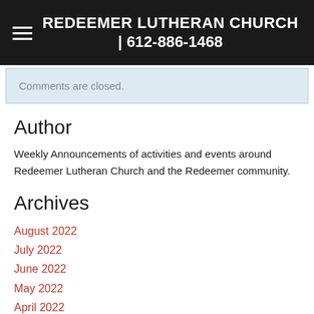REDEEMER LUTHERAN CHURCH | 612-886-1468
Comments are closed.
Author
Weekly Announcements of activities and events around Redeemer Lutheran Church and the Redeemer community.
Archives
August 2022
July 2022
June 2022
May 2022
April 2022
March 2022